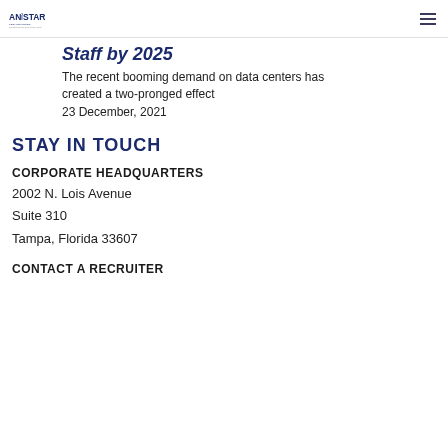Anistar Technologies
Staff by 2025
The recent booming demand on data centers has created a two-pronged effect
23 December, 2021
STAY IN TOUCH
CORPORATE HEADQUARTERS
2002 N. Lois Avenue
Suite 310
Tampa, Florida 33607
CONTACT A RECRUITER